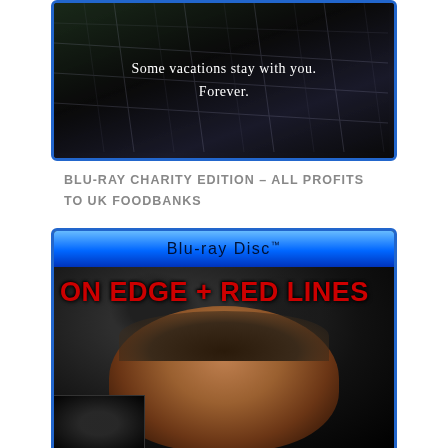[Figure (photo): Top portion of a Blu-ray case with dark background showing a map texture and white italic text: 'Some vacations stay with you. Forever.']
BLU-RAY CHARITY EDITION – ALL PROFITS TO UK FOODBANKS
[Figure (photo): Blu-ray Disc case with blue header bar reading 'Blu-ray Disc™', dark cover showing a man's face and bold red text 'ON EDGE + RED LINES', with a smaller inset image at the bottom left corner.]